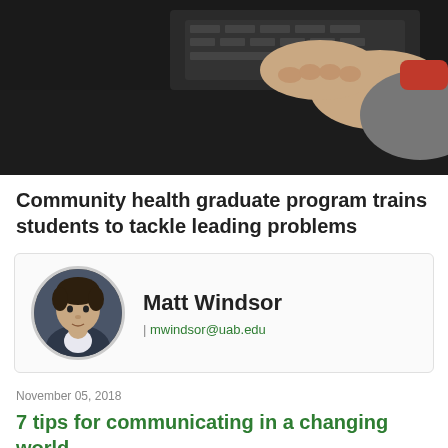[Figure (photo): Person typing on a keyboard at a dark desk, viewed from the side]
Community health graduate program trains students to tackle leading problems
[Figure (photo): Author profile card for Matt Windsor with circular headshot photo]
Matt Windsor
| mwindsor@uab.edu
November 05, 2018
7 tips for communicating in a changing world
[Figure (photo): Partial photo at the bottom of the page]